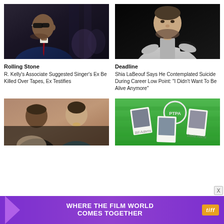[Figure (photo): Man in sunglasses and dark suit, side profile, R. Kelly photo]
[Figure (photo): Shia LaBeouf holding a black mug, wearing a grey hoodie, dark background]
Rolling Stone
R. Kelly's Associate Suggested Singer's Ex Be Killed Over Tapes, Ex Testifies
Deadline
Shia LaBeouf Says He Contemplated Suicide During Career Low Point: "I Didn't Want To Be Alive Anymore"
[Figure (photo): Group of people, man in black and woman smiling, bottom left news card]
[Figure (photo): PTPA logo with polaroid photos of tennis players on green grass background]
[Figure (advertisement): TIFF advertisement banner: WHERE THE FILM WORLD COMES TOGETHER with tiff logo]